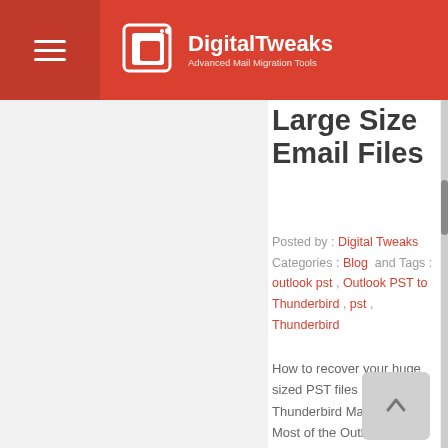DigitalTweaks — Advanced Mail Migration Tools
Large Size Email Files
Posted by : Digital Tweaks  Categories : Blog  and Tags : outlook pst , Outlook PST to Thunderbird , pst , Thunderbird
How to recover your huge sized PST files into Thunderbird Mac platform? Most of the Outlook users who want to move to Thunderbird Mac